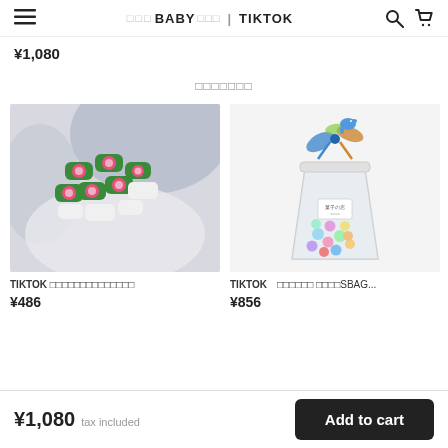≡  ○○○BABY○○○ | TIKTOK  🔍  🛒
¥1,080
○○○○○○○
[Figure (photo): Watermelon-themed candy pieces on a light background]
TIKTOK ○○○○○○○○○○○○○○
¥486
[Figure (photo): Clear cup filled with colorful candies topped with decorative bow/elephant]
TIKTOK　○○○○○○ ○○○○SBAG...
¥856
¥1,080  tax included    Add to cart